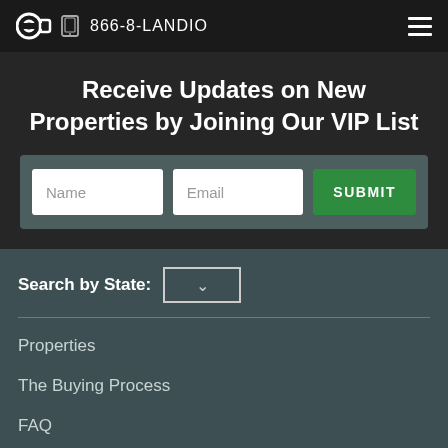866-8-LANDIO
Receive Updates on New Properties by Joining Our VIP List
Name | Email | SUBMIT
Search by State:
Properties
The Buying Process
FAQ
VIP List